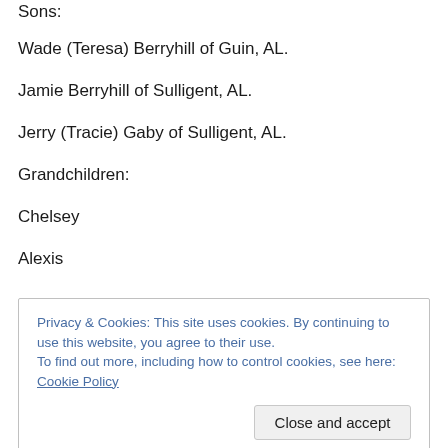Sons:
Wade (Teresa) Berryhill of Guin, AL.
Jamie Berryhill of Sulligent, AL.
Jerry (Tracie) Gaby of Sulligent, AL.
Grandchildren:
Chelsey
Alexis
Privacy & Cookies: This site uses cookies. By continuing to use this website, you agree to their use.
To find out more, including how to control cookies, see here: Cookie Policy
Cameron